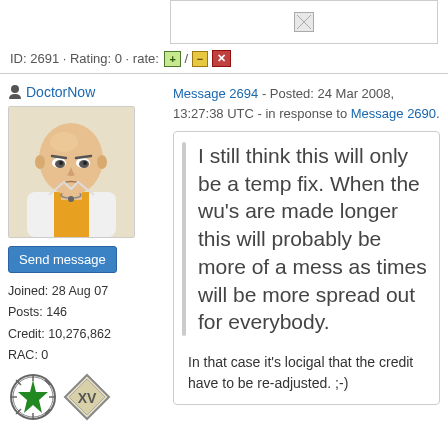[Figure (illustration): Broken image placeholder at top]
ID: 2691 · Rating: 0 · rate: [+] / [-] [x]
DoctorNow
[Figure (illustration): Anime character avatar - bald man in white jacket]
Send message
Joined: 28 Aug 07
Posts: 146
Credit: 10,276,862
RAC: 0
[Figure (illustration): Two badge icons - circular green star badge and diamond XV badge]
Message 2694 - Posted: 24 Mar 2008, 13:27:38 UTC - in response to Message 2690.
I still think this will only be a temp fix. When the wu's are made longer this will probably be more of a mess as times will be more spread out for everybody.
In that case it's locigal that the credit have to be re-adjusted. ;-)